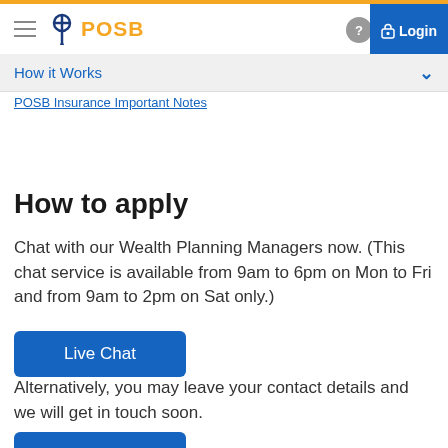POSB — Login
How it Works
POSB Insurance Important Notes
How to apply
Chat with our Wealth Planning Managers now. (This chat service is available from 9am to 6pm on Mon to Fri and from 9am to 2pm on Sat only.)
Live Chat
Alternatively, you may leave your contact details and we will get in touch soon.